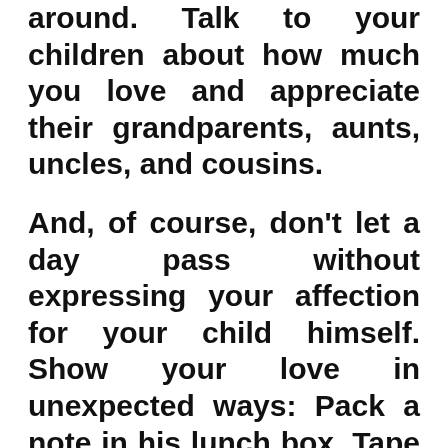around. Talk to your children about how much you love and appreciate their grandparents, aunts, uncles, and cousins.
And, of course, don't let a day pass without expressing your affection for your child himself. Show your love in unexpected ways: Pack a note in his lunch box. Tape a heart to the bathroom mirror so he'll see it when he brushes his teeth. Give her a hug-for no reason. Don't allow frantic morning drop